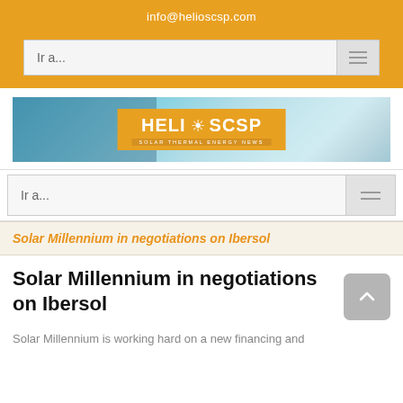info@helioscsp.com
[Figure (screenshot): Navigation dropdown bar with text 'Ir a...' and hamburger menu icon, on golden background]
[Figure (logo): HELIOSCSP Solar Thermal Energy News banner logo with solar panel imagery in background]
[Figure (screenshot): Second navigation dropdown bar with text 'Ir a...' and hamburger menu icon]
Solar Millennium in negotiations on Ibersol
Solar Millennium in negotiations on Ibersol
Solar Millennium is working hard on a new financing and